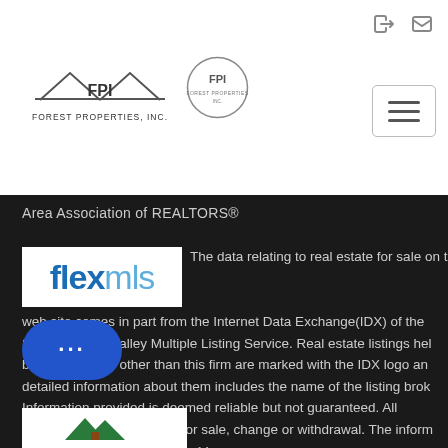[Figure (logo): Forest Properties Inc FPI logo with house/roof graphic and text FOREST PROPERTIES, INC.]
[Figure (logo): FPI circular badge logo]
Area Association of REALTORS®
[Figure (logo): flexmls logo - bold blue text]
The data relating to real estate for sale on this web site comes in part from the Internet Data Exchange(IDX) of the Sedona Verde Valley Multiple Listing Service. Real estate listings held by brokerage firms other than this firm are marked with the IDX logo and detailed information about them includes the name of the listing broker. Information provided is deemed reliable but not guaranteed. All properties are subject to prior sale, change or withdrawal. The information being provided is for Show More...